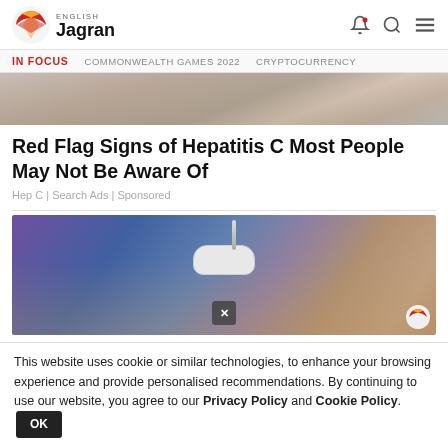English Jagran | IN FOCUS | COMMONWEALTH GAMES 2022 | CRYPTOCURRENCY
[Figure (photo): Close-up photo of a hand, top portion of article image]
Red Flag Signs of Hepatitis C Most People May Not Be Aware Of
Hep C | Search Ads | Sponsored
[Figure (photo): Photo of a hand with a medical device attached, and a close-up overlay with X close button]
This website uses cookie or similar technologies, to enhance your browsing experience and provide personalised recommendations. By continuing to use our website, you agree to our Privacy Policy and Cookie Policy.